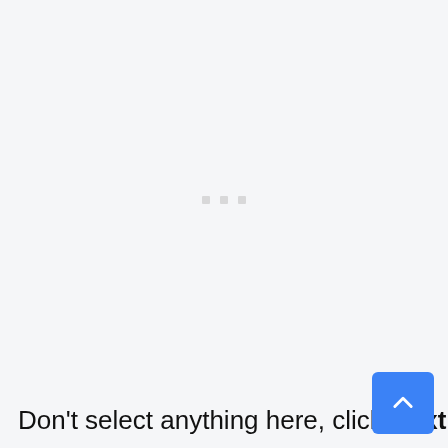[Figure (other): Three small light gray square dots centered on the page, indicating a loading or placeholder state.]
Don't select anything here, click Next.
[Figure (other): Blue square button with a white upward-pointing chevron arrow, positioned at the bottom right corner.]